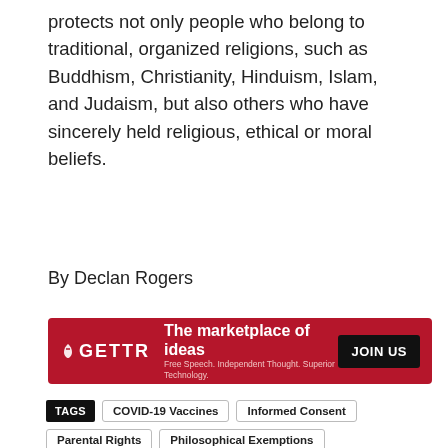protects not only people who belong to traditional, organized religions, such as Buddhism, Christianity, Hinduism, Islam, and Judaism, but also others who have sincerely held religious, ethical or moral beliefs.
By Declan Rogers
[Figure (other): GETTR advertisement banner: red background with GETTR logo on left, text 'The marketplace of ideas / Free Speech. Independent Thought. Superior Technology.' in center, black 'JOIN US' button on right]
TAGS  COVID-19 Vaccines  Informed Consent  Parental Rights  Philosophical Exemptions